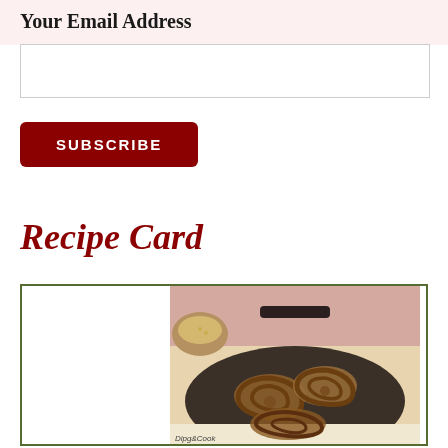Your Email Address
[Figure (other): Empty email input text field with light border]
SUBSCRIBE
Recipe Card
[Figure (photo): A plate of chakli (Indian spiral fried snack) in a dark pan, with a small bowl of batter in the background, on a pink surface with cloth.]